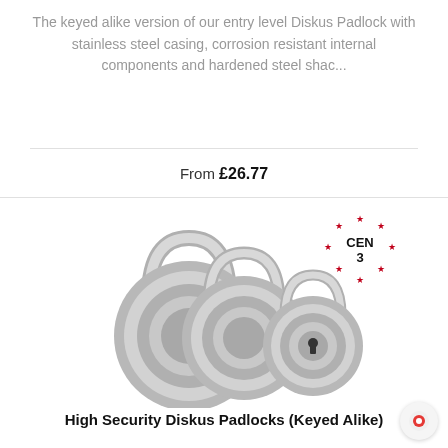The keyed alike version of our entry level Diskus Padlock with stainless steel casing, corrosion resistant internal components and hardened steel shac...
From £26.77
[Figure (photo): Three stainless steel circular Diskus padlocks of different sizes arranged together, with a CEN 3 star rating badge (circle of red stars) in the upper right.]
High Security Diskus Padlocks (Keyed Alike)